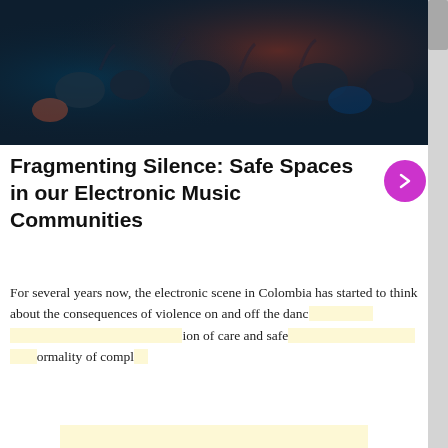[Figure (photo): Concert crowd photo, dark atmosphere with blue and red lighting, audience viewed from above]
Fragmenting Silence: Safe Spaces in our Electronic Music Communities
For several years now, the electronic scene in Colombia has started to think about the consequences of violence on and off the dance floor. These initiatives are redefining the notion of care and safe spaces — moving from the normality of compliance…
By visiting our site, you agree to our privacy policy regarding cookies, tracking statistics, etc.
I accept   I do not accept
[Figure (photo): DJ or performer on stage with warm orange and cool blue lighting]